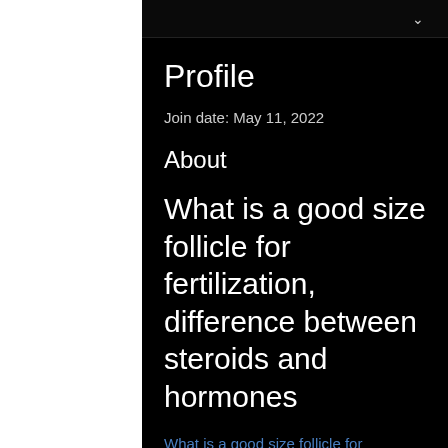Profile
Join date: May 11, 2022
About
What is a good size follicle for fertilization, difference between steroids and hormones
What is a good size follicle for fertilization, difference between steroids and hormones - Buy anabolic steroids online